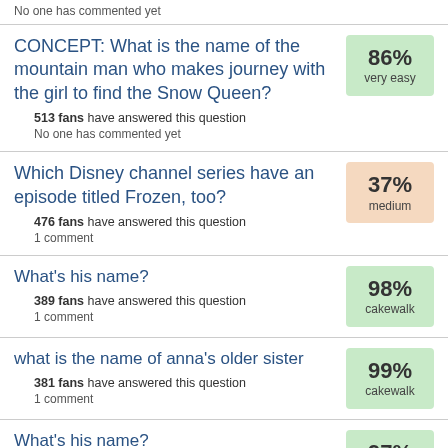No one has commented yet
CONCEPT: What is the name of the mountain man who makes journey with the girl to find the Snow Queen?
513 fans have answered this question
No one has commented yet
86% very easy
Which Disney channel series have an episode titled Frozen, too?
476 fans have answered this question
1 comment
37% medium
What's his name?
389 fans have answered this question
1 comment
98% cakewalk
what is the name of anna's older sister
381 fans have answered this question
1 comment
99% cakewalk
What's his name?
379 fans have answered this question
No one has commented yet
97% cakewalk
What's his name?
378 fans have answered this question
96% cakewalk